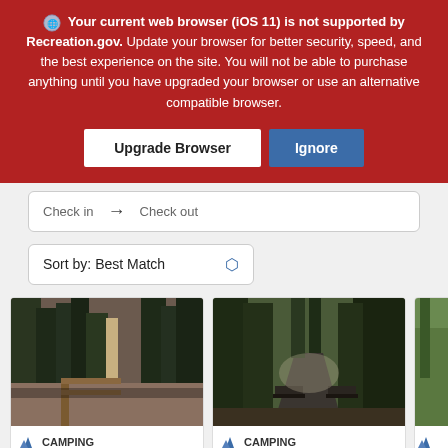Your current web browser (iOS 11) is not supported by Recreation.gov. Update your browser for better security, speed, and the best experience on the site. You will not be able to purchase anything until you have upgraded your browser or use an alternative compatible browser.
[Figure (screenshot): Two buttons: 'Upgrade Browser' (white) and 'Ignore' (blue) on red background]
Check in → Check out
Sort by: Best Match
[Figure (photo): Campsite photo showing dirt area with wooden post fence and tall trees]
CAMPING
[Figure (photo): Campsite photo showing road through forest with picnic tables]
CAMPING
[Figure (photo): Partial campsite photo showing green foliage]